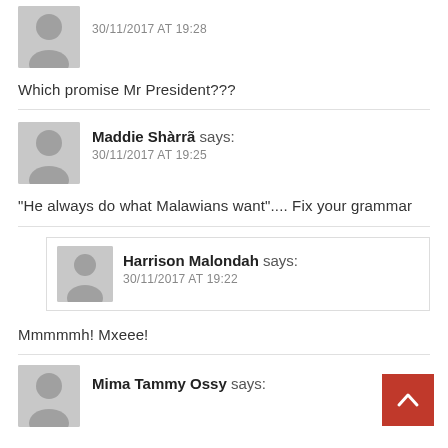[Figure (illustration): Gray avatar silhouette icon for anonymous commenter at top]
30/11/2017 AT 19:28
Which promise Mr President???
[Figure (illustration): Gray avatar silhouette icon for Maddie Shàrrã]
Maddie Shàrrã says:
30/11/2017 AT 19:25
“He always do what Malawians want”.... Fix your grammar
[Figure (illustration): Small gray avatar silhouette for Harrison Malondah (indented reply)]
Harrison Malondah says:
30/11/2017 AT 19:22
Mmmmmh! Mxeee!
[Figure (illustration): Gray avatar silhouette icon for Mima Tammy Ossy]
Mima Tammy Ossy says: